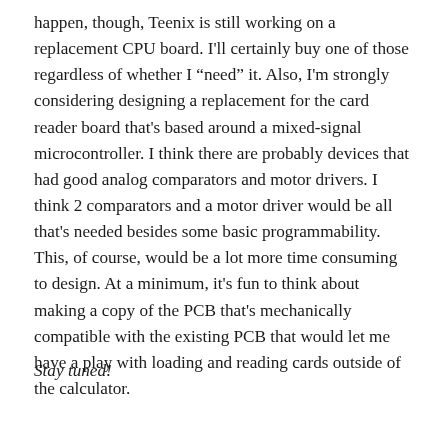happen, though, Teenix is still working on a replacement CPU board. I'll certainly buy one of those regardless of whether I "need" it. Also, I'm strongly considering designing a replacement for the card reader board that's based around a mixed-signal microcontroller. I think there are probably devices that had good analog comparators and motor drivers. I think 2 comparators and a motor driver would be all that's needed besides some basic programmability. This, of course, would be a lot more time consuming to design. At a minimum, it's fun to think about making a copy of the PCB that's mechanically compatible with the existing PCB that would let me have a play with loading and reading cards outside of the calculator.
Stay tuned!